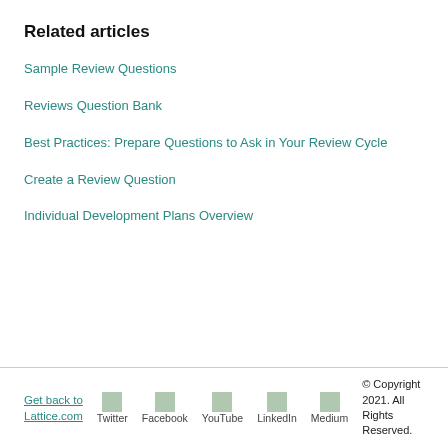Related articles
Sample Review Questions
Reviews Question Bank
Best Practices: Prepare Questions to Ask in Your Review Cycle
Create a Review Question
Individual Development Plans Overview
Get back to Lattice.com   Twitter   Facebook   YouTube   LinkedIn   Medium   © Copyright 2021. All Rights Reserved.